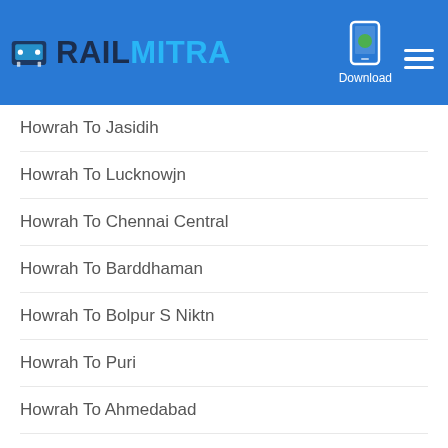RAILMITRA — Download
Howrah To Jasidih
Howrah To Lucknowjn
Howrah To Chennai Central
Howrah To Barddhaman
Howrah To Bolpur S Niktn
Howrah To Puri
Howrah To Ahmedabad
Howrah to Fatuha Train Routes
Your search for trains from Howrah to Fatuha and its route, schedule and food options is supposed to come to an end